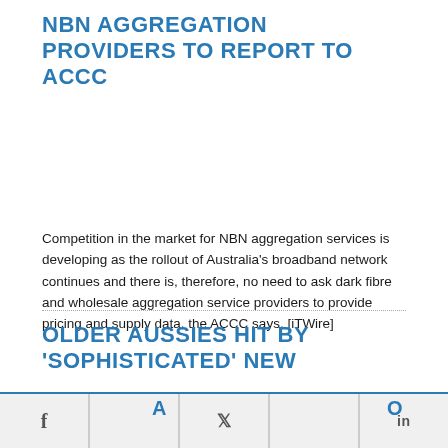NBN AGGREGATION PROVIDERS TO REPORT TO ACCC
Competition in the market for NBN aggregation services is developing as the rollout of Australia's broadband network continues and there is, therefore, no need to ask dark fibre and wholesale aggregation service providers to provide pricing and supply data, the ACCC says. [iTWire]
OLDER AUSSIES HIT BY 'SOPHISTICATED' NEW A
f  A  [twitter]  o  in